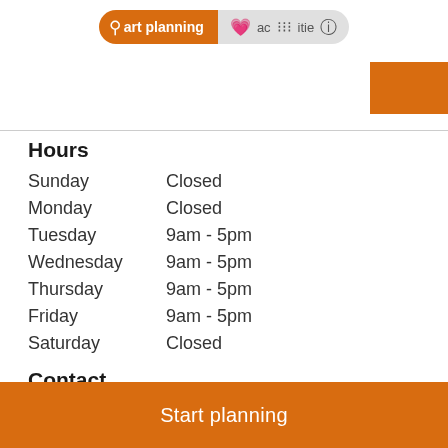Start planning | places | activities
Hours
| Sunday | Closed |
| Monday | Closed |
| Tuesday | 9am - 5pm |
| Wednesday | 9am - 5pm |
| Thursday | 9am - 5pm |
| Friday | 9am - 5pm |
| Saturday | Closed |
Contact
210 Morrissey Blvd,
Boston,
MA 02125,
USA
Start planning